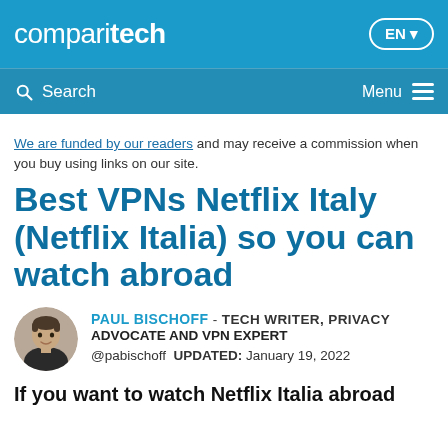comparitech  EN
Search  Menu
We are funded by our readers and may receive a commission when you buy using links on our site.
Best VPNs Netflix Italy (Netflix Italia) so you can watch abroad
PAUL BISCHOFF - TECH WRITER, PRIVACY ADVOCATE AND VPN EXPERT
@pabischoff  UPDATED: January 19, 2022
If you want to watch Netflix Italia abroad